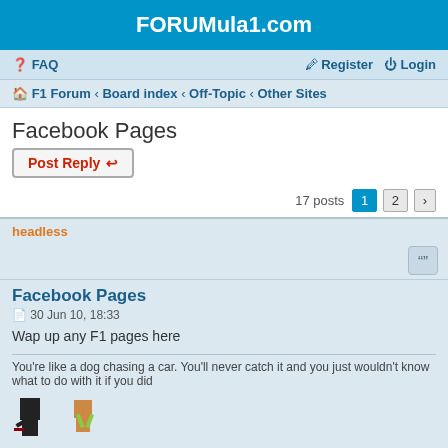FORUMula1.com
FAQ   Register   Login
F1 Forum · Board index · Off-Topic · Other Sites
Facebook Pages
Post Reply
17 posts  1  2  >
headless
Facebook Pages
30 Jun 10, 18:33
Wap up any F1 pages here
You're like a dog chasing a car. You'll never catch it and you just wouldn't know what to do with it if you did